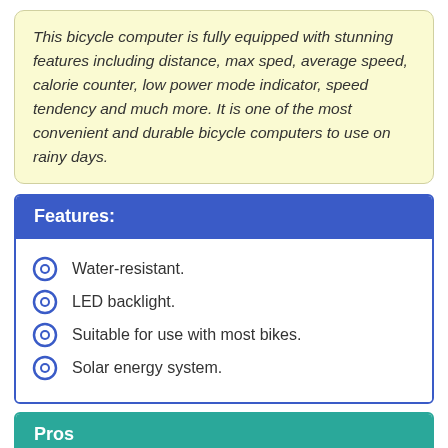This bicycle computer is fully equipped with stunning features including distance, max sped, average speed, calorie counter, low power mode indicator, speed tendency and much more. It is one of the most convenient and durable bicycle computers to use on rainy days.
Features:
Water-resistant.
LED backlight.
Suitable for use with most bikes.
Solar energy system.
Pros